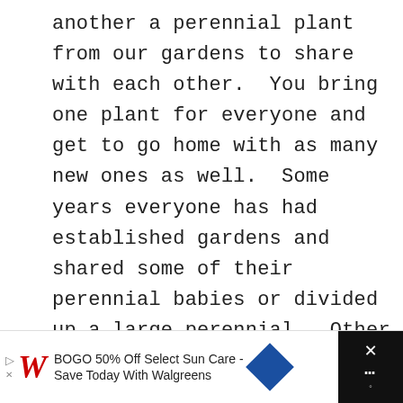another a perennial plant from our gardens to share with each other.  You bring one plant for everyone and get to go home with as many new ones as well.  Some years everyone has had established gardens and shared some of their perennial babies or divided up a large perennial.  Other years, people with less established gardens have come and just picked up a new plant for  at the garden centre or even a  of seeds.  I always try to invite a mix
[Figure (infographic): Social share buttons: blue Share button with count 129, red Pin button with count 42, blue Tweet button]
[Figure (infographic): Advertisement banner: Walgreens ad - BOGO 50% Off Select Sun Care - Save Today With Walgreens, with Walgreens logo and blue directional diamond icon and black close button]